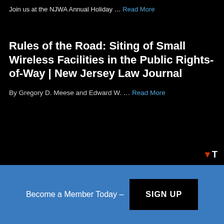Join us at the NJWA Annual Holiday … Read More
Rules of the Road: Siting of Small Wireless Facilities in the Public Rights-of-Way | New Jersey Law Journal
By Gregory D. Meese and Edward W. … Read More
Become a Member Today –
SIGN UP